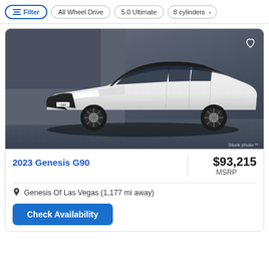Filter | All Wheel Drive | 5.0 Ultimate | 8 cylinders
[Figure (photo): 2023 Genesis G90 white luxury sedan shown in a studio setting, three-quarter front view. Badge reads G90. Bottom right shows 'Stock photo **' label. Heart icon in top right corner.]
2023 Genesis G90
$93,215 MSRP
Genesis Of Las Vegas (1,177 mi away)
Check Availability